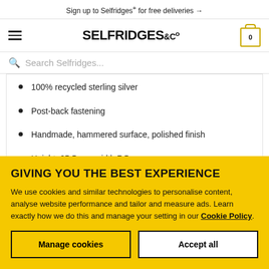Sign up to Selfridges+ for free deliveries →
[Figure (logo): Selfridges & Co logo with hamburger menu and shopping cart icon showing 0 items]
Search Selfridges...
100% recycled sterling silver
Post-back fastening
Handmade, hammered surface, polished finish
Height: 25.5mm, width 7.5mm
GIVING YOU THE BEST EXPERIENCE
We use cookies and similar technologies to personalise content, analyse website performance and tailor and measure ads. Learn exactly how we do this and manage your setting in our Cookie Policy.
Manage cookies
Accept all